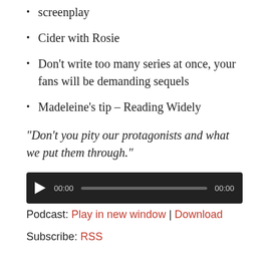screenplay
Cider with Rosie
Don’t write too many series at once, your fans will be demanding sequels
Madeleine’s tip – Reading Widely
“Don’t you pity our protagonists and what we put them through.”
[Figure (other): Audio player widget with play button, progress bar, and timestamps 00:00 / 00:00]
Podcast: Play in new window | Download
Subscribe: RSS